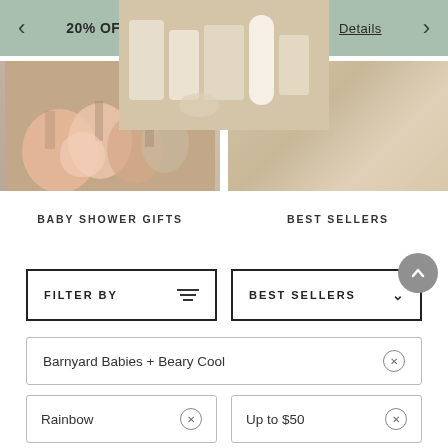20% OFF SALE W/ Code: LONGWKND Details
[Figure (photo): Baby shower gifts - colorful knitted hats displayed on wooden stands with greenery]
[Figure (photo): Best sellers - Honest brand skincare/beauty products arranged on a neutral background]
BABY SHOWER GIFTS
BEST SELLERS
FILTER BY
BEST SELLERS
Barnyard Babies + Beary Cool ✕
Rainbow ✕
Up to $50 ✕